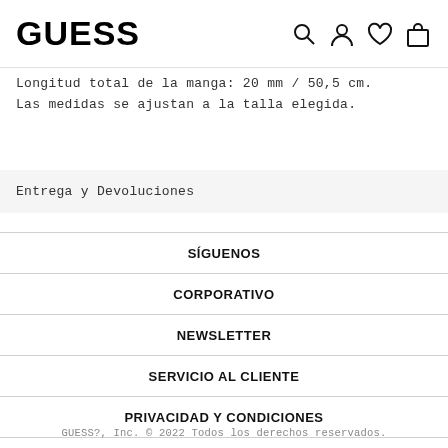GUESS
Longitud total de la manga: 20 mm / 50,5 cm.
Las medidas se ajustan a la talla elegida.
Entrega y Devoluciones
SÍGUENOS
CORPORATIVO
NEWSLETTER
SERVICIO AL CLIENTE
PRIVACIDAD Y CONDICIONES
GUESS?, Inc. © 2022 Todos los derechos reservados.